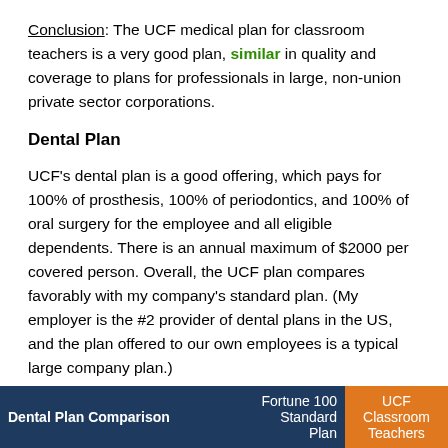Conclusion: The UCF medical plan for classroom teachers is a very good plan, similar in quality and coverage to plans for professionals in large, non-union private sector corporations.
Dental Plan
UCF's dental plan is a good offering, which pays for 100% of prosthesis, 100% of periodontics, and 100% of oral surgery for the employee and all eligible dependents. There is an annual maximum of $2000 per covered person. Overall, the UCF plan compares favorably with my company's standard plan. (My employer is the #2 provider of dental plans in the US, and the plan offered to our own employees is a typical large company plan.)
| Dental Plan Comparison | Fortune 100 Standard Plan | UCF Classroom Teachers |
| --- | --- | --- |